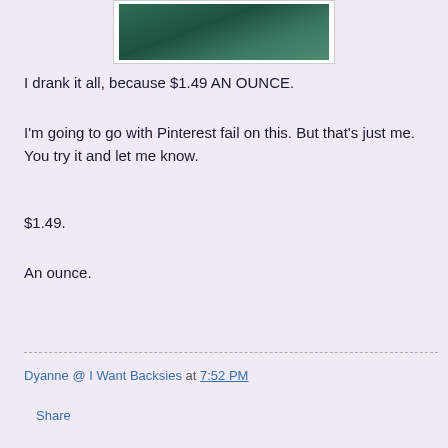[Figure (photo): Partial photo showing a dark green surface or drink, cropped at the top of the visible area.]
I drank it all, because $1.49 AN OUNCE.
I'm going to go with Pinterest fail on this. But that's just me. You try it and let me know.
$1.49.
An ounce.
Dyanne @ I Want Backsies at 7:52 PM
Share